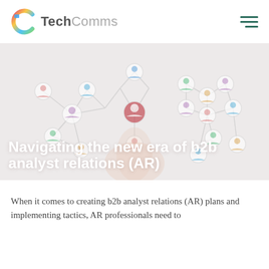[Figure (logo): TechComms logo with colorful C icon and gray/dark text]
[Figure (photo): Hero background image: network of connected people icons overlaid on a hand, faded/watermarked style, light gray-pink tones]
Navigating the new era of b2b analyst relations (AR)
When it comes to creating b2b analyst relations (AR) plans and implementing tactics, AR professionals need to